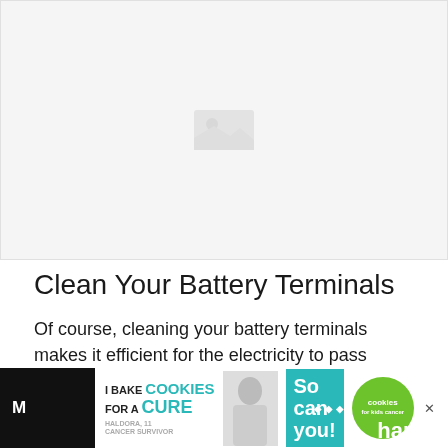[Figure (photo): Placeholder image area, light gray background with faint image content]
Clean Your Battery Terminals
Of course, cleaning your battery terminals makes it efficient for the electricity to pass through the cable to your battery.
[Figure (photo): Advertisement banner: 'I Bake COOKIES For A CURE' with a girl holding cookies, 'So can you!' text, cookies for kids cancer logo, and partial dark sidebar content showing 'hands']